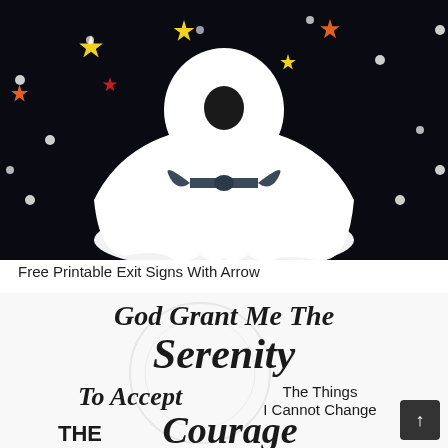[Figure (photo): A handmade ghost craft made from white tissue or fabric, tied with a dark ribbon bow at the neck, with a dark oval face. Background is black with colorful stars (yellow, orange, red) and white polka dots.]
Free Printable Exit Signs With Arrow
[Figure (photo): A printable sign showing the Serenity Prayer text in calligraphic and bold fonts on a white background. Visible text reads: 'God Grant Me The Serenity To Accept The Things I Cannot Change THE Courage']